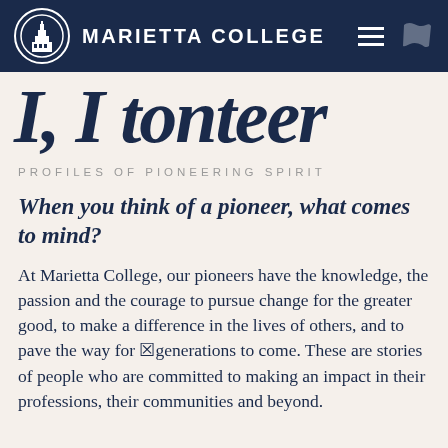MARIETTA COLLEGE
I, I tonteer
PROFILES OF PIONEERING SPIRIT
When you think of a pioneer, what comes to mind?
At Marietta College, our pioneers have the knowledge, the passion and the courage to pursue change for the greater good, to make a difference in the lives of others, and to pave the way for future generations to come. These are stories of people who are committed to making an impact in their professions, their communities and beyond.